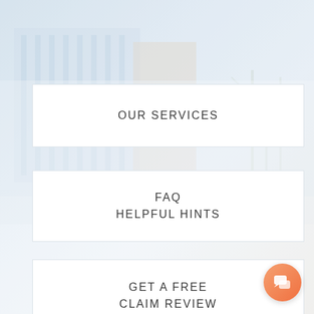[Figure (photo): Faded background photo of a multi-story office building with trees in winter, light blue and beige tones]
OUR SERVICES
FAQ
HELPFUL HINTS
GET A FREE
CLAIM REVIEW
[Figure (illustration): Orange gradient circular chat/message button icon in the bottom-right corner]